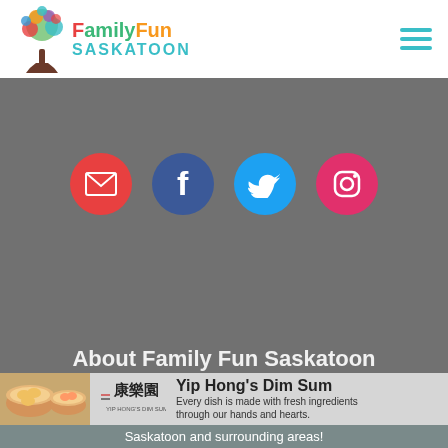[Figure (logo): FamilyFun Saskatoon logo with colorful tree and text]
[Figure (illustration): Hamburger menu icon with three teal horizontal lines]
[Figure (illustration): Gray banner background section with social media icons: email (red), Facebook (dark blue), Twitter (light blue), Instagram (pink/red)]
[Figure (infographic): Ad banner for Yip Hong's Dim Sum showing dim sum food photo, Chinese logo, and text: Yip Hong's Dim Sum - Every dish is made with fresh ingredients through our hands and hearts.]
Saskatoon and surrounding areas!